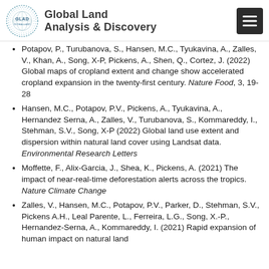Global Land Analysis & Discovery
Potapov, P., Turubanova, S., Hansen, M.C., Tyukavina, A., Zalles, V., Khan, A., Song, X-P, Pickens, A., Shen, Q., Cortez, J. (2022) Global maps of cropland extent and change show accelerated cropland expansion in the twenty-first century. Nature Food, 3, 19-28
Hansen, M.C., Potapov, P.V., Pickens, A., Tyukavina, A., Hernandez Serna, A., Zalles, V., Turubanova, S., Kommareddy, I., Stehman, S.V., Song, X-P (2022) Global land use extent and dispersion within natural land cover using Landsat data. Environmental Research Letters
Moffette, F., Alix-Garcia, J., Shea, K., Pickens, A. (2021) The impact of near-real-time deforestation alerts across the tropics. Nature Climate Change
Zalles, V., Hansen, M.C., Potapov, P.V., Parker, D., Stehman, S.V., Pickens A.H., Leal Parente, L., Ferreira, L.G., Song, X.-P., Hernandez-Serna, A., Kommareddy, I. (2021) Rapid expansion of human impact on natural land